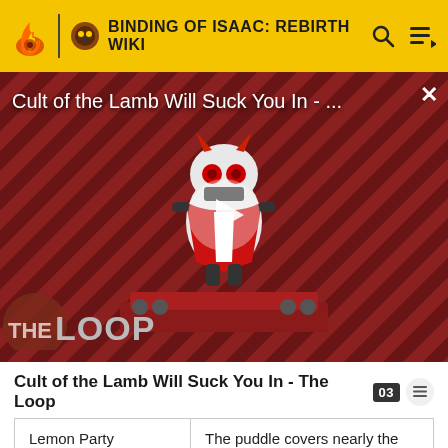BINDING OF ISAAC: REBIRTH WIKI
[Figure (screenshot): Video thumbnail for 'Cult of the Lamb Will Suck You In - The Loop' showing a cartoon lamb character with red eyes on a striped red and dark background, with a white play button in the center and 'THE LOOP' text at the bottom left. Title overlay reads 'Cult of the Lamb Will Suck You In - ...' with a close X button.]
Cult of the Lamb Will Suck You In - The Loop
| Lemon Party | The puddle covers nearly the entire room. |
| R U a Wizard? | The effect lasts 60 seconds. |